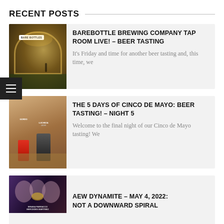RECENT POSTS
[Figure (photo): Barebottle Brewing Company exterior at night with illuminated sign and arched entrance]
BAREBOTTLE BREWING COMPANY TAP ROOM LIVE! – BEER TASTING
It's Friday and time for another beer tasting and, this time, we
[Figure (photo): Beer cans including a dark can and colorful cans on a table for Cinco de Mayo tasting]
THE 5 DAYS OF CINCO DE MAYO: BEER TASTING! – NIGHT 5
Welcome to the final night of our Cinco de Mayo tasting! We
[Figure (photo): AEW Dynamite wrestling promotional image with text overlay showing wrestler names]
AEW DYNAMITE – MAY 4, 2022: NOT A DOWNWARD SPIRAL